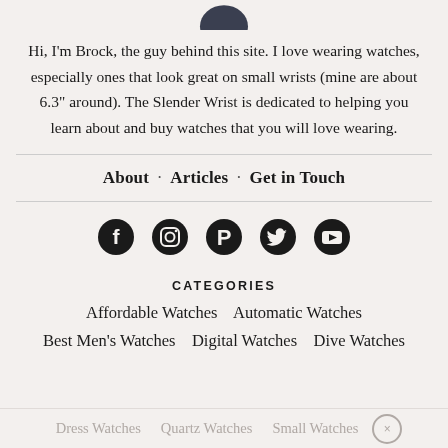[Figure (photo): Partial profile photo of a person (Brock), cropped at top]
Hi, I'm Brock, the guy behind this site. I love wearing watches, especially ones that look great on small wrists (mine are about 6.3" around). The Slender Wrist is dedicated to helping you learn about and buy watches that you will love wearing.
About · Articles · Get in Touch
[Figure (infographic): Social media icons row: Facebook, Instagram, Pinterest, Twitter, YouTube]
CATEGORIES
Affordable Watches
Automatic Watches
Best Men's Watches
Digital Watches
Dive Watches
Dress Watches   Quartz Watches   Small Watches